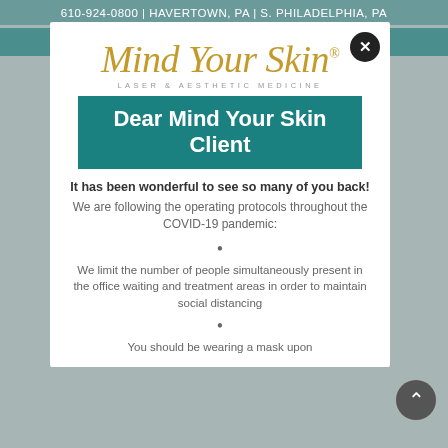610-924-0800 | HAVERTOWN, PA | S. PHILADELPHIA, PA
[Figure (logo): Mind Your Skin Laser & Aesthetic Medicine logo in gold italic script]
Dear Mind Your Skin Client
It has been wonderful to see so many of you back! We are following the operating protocols throughout the COVID-19 pandemic:
We limit the number of people simultaneously present in the office waiting and treatment areas in order to maintain social distancing
You should be wearing a mask upon